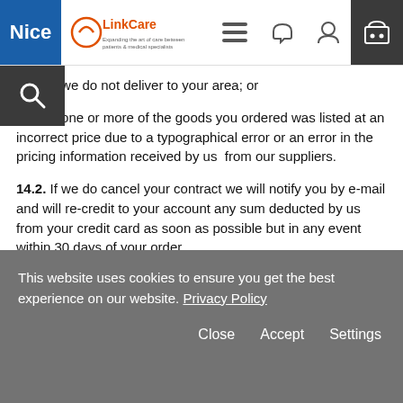Nice LinkCare [website header with navigation icons]
14.1.2. we do not deliver to your area; or
14.1.3. one or more of the goods you ordered was listed at an incorrect price due to a typographical error or an error in the pricing information received by us from our suppliers.
14.2. If we do cancel your contract we will notify you by e-mail and will re-credit to your account any sum deducted by us from your credit card as soon as possible but in any event within 30 days of your order.
15. Liability
15.1. If you do not receive goods ordered by you within 30 days of the date on which you ordered them, we will have no liability to you unless you notify us in writing at our contact address of the problem within 60 days of the date on which you ordered the goods (unless this is not
This website uses cookies to ensure you get the best experience on our website. Privacy Policy
Close   Accept   Settings